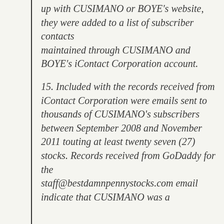up with CUSIMANO or BOYE's website, they were added to a list of subscriber contacts maintained through CUSIMANO and BOYE's iContact Corporation account.
15. Included with the records received from iContact Corporation were emails sent to thousands of CUSIMANO's subscribers between September 2008 and November 2011 touting at least twenty seven (27) stocks. Records received from GoDaddy for the staff@bestdamnpennystocks.com email indicate that CUSIMANO was a